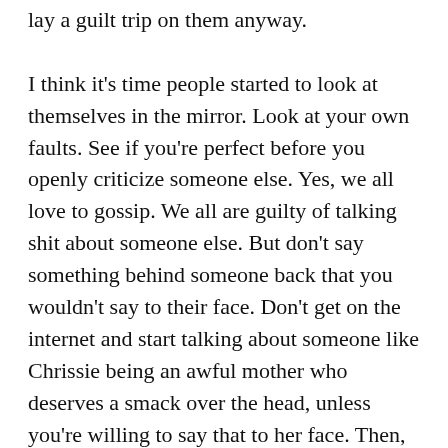lay a guilt trip on them anyway.

I think it's time people started to look at themselves in the mirror. Look at your own faults. See if you're perfect before you openly criticize someone else. Yes, we all love to gossip. We all are guilty of talking shit about someone else. But don't say something behind someone back that you wouldn't say to their face. Don't get on the internet and start talking about someone like Chrissie being an awful mother who deserves a smack over the head, unless you're willing to say that to her face. Then, try to remember she's 5 months pregnant and is going through a shitstorm of emotions and doesn't need your judgement. It's hard enough for people to ask for help when they need it. When you're famous, you're not allowed to be vulnerable. You're not allowed to appear weak. Asking for help would be admitting to both of those things. How does a celebrity reach out and ask for help. Who do they turn to? How come the rest of the